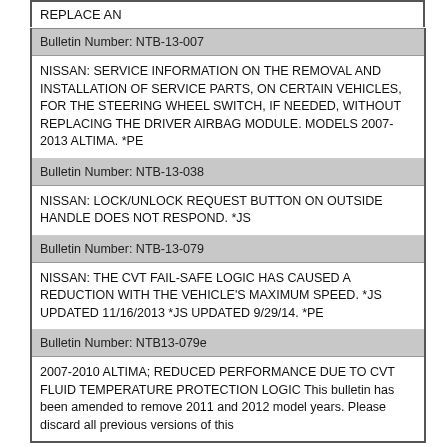REPLACE AN
| Bulletin Number: NTB-13-007 |
| NISSAN: SERVICE INFORMATION ON THE REMOVAL AND INSTALLATION OF SERVICE PARTS, ON CERTAIN VEHICLES, FOR THE STEERING WHEEL SWITCH, IF NEEDED, WITHOUT REPLACING THE DRIVER AIRBAG MODULE. MODELS 2007-2013 ALTIMA. *PE |
| Bulletin Number: NTB-13-038 |
| NISSAN: LOCK/UNLOCK REQUEST BUTTON ON OUTSIDE HANDLE DOES NOT RESPOND. *JS |
| Bulletin Number: NTB-13-079 |
| NISSAN: THE CVT FAIL-SAFE LOGIC HAS CAUSED A REDUCTION WITH THE VEHICLE'S MAXIMUM SPEED. *JS UPDATED 11/16/2013 *JS UPDATED 9/29/14. *PE |
| Bulletin Number: NTB13-079e |
| 2007-2010 ALTIMA; REDUCED PERFORMANCE DUE TO CVT FLUID TEMPERATURE PROTECTION LOGIC This bulletin has been amended to remove 2011 and 2012 model years. Please discard all previous versions of this |
[Figure (other): Advertisement: Save Up to 65% Leesburg Premium Outlets with navigation arrow icon]